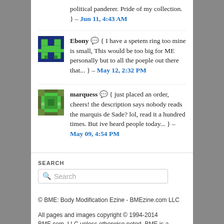political panderer. Pride of my collection. } – Jun 11, 4:43 AM
Ebony 💬 { I have a spetem ring too mine is small, This would be too big for ME personally but to all the poeple out there that... } – May 12, 2:32 PM
marquess 💬 { just placed an order, cheers! the description says nobody reads the marquis de Sade? lol, read it a hundred times. But ive heard people today... } – May 09, 4:54 PM
SEARCH
Search
© BME: Body Modification Ezine - BMEzine.com LLC
All pages and images copyright © 1994-2014 BME.com, LLC unless otherwise noted. BME is a registered trademark of